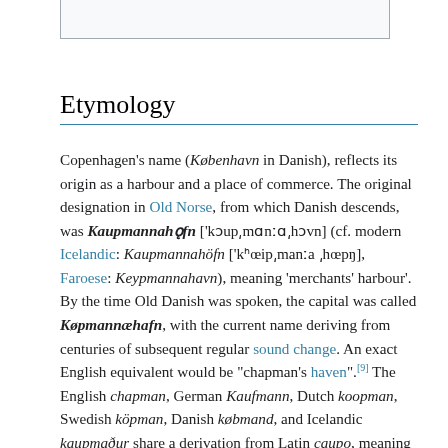[Figure (other): Top partial image bar, light grey rectangle]
Etymology
Copenhagen's name (København in Danish), reflects its origin as a harbour and a place of commerce. The original designation in Old Norse, from which Danish descends, was Kaupmannahǫfn ['kɔup͵mɑnːɑ͵hɔvn] (cf. modern Icelandic: Kaupmannahöfn ['kʰœip͵manːa ͵hœpŋ], Faroese: Keypmannahavn), meaning 'merchants' harbour'. By the time Old Danish was spoken, the capital was called Køpmannæhafn, with the current name deriving from centuries of subsequent regular sound change. An exact English equivalent would be "chapman's haven".[9] The English chapman, German Kaufmann, Dutch koopman, Swedish köpman, Danish købmand, and Icelandic kaupmaður share a derivation from Latin caupo, meaning 'tradesman'. However, the English term for the city was adapted from its Low